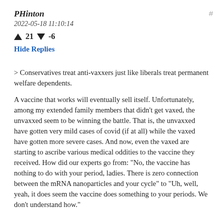PHinton
2022-05-18 11:10:14
▲ 21 ▼ -6
Hide Replies
> Conservatives treat anti-vaxxers just like liberals treat permanent welfare dependents.
A vaccine that works will eventually sell itself. Unfortunately, among my extended family members that didn't get vaxed, the unvaxxed seem to be winning the battle. That is, the unvaxxed have gotten very mild cases of covid (if at all) while the vaxed have gotten more severe cases. And now, even the vaxed are starting to ascribe various medical oddities to the vaccine they received. How did our experts go from: "No, the vaccine has nothing to do with your period, ladies. There is zero connection between the mRNA nanoparticles and your cycle" to "Uh, well, yeah, it does seem the vaccine does something to your periods. We don't understand how."